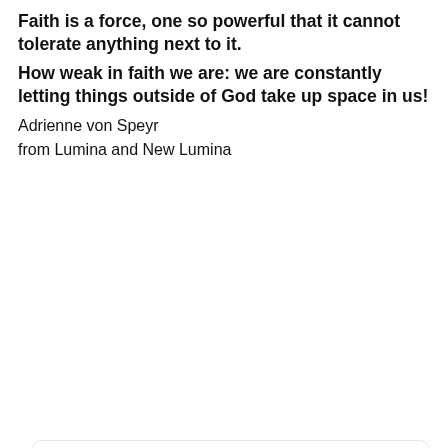Faith is a force, one so powerful that it cannot tolerate anything next to it.
How weak in faith we are: we are constantly letting things outside of God take up space in us!
Adrienne von Speyr
from Lumina and New Lumina
[Figure (screenshot): Tweet from @wralweather (WRAL Weather) stating: The latest Saharan Dust Model shows the dust making its way into North Carolina this coming weekend. If current trends persist the dust appears substantial enough to dim our incoming sunlight. We will follow this all week. @WRALWeather. Below the tweet text is a weather map showing Saharan Dust over the eastern US, with a 'SAHARAN DUST SUN 8:00 AM' label and a 'POTENTIAL IMPACT: BROWN, DUSTY HAZE / DIMMER SUNLIGHT / DIMMER SUNRISES & SUNSETS' box.]